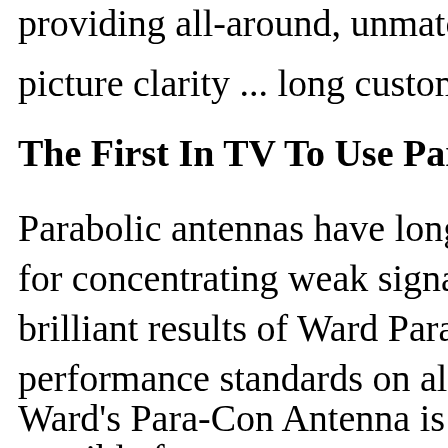providing all-around, unmatched perf...
picture clarity ... long customer satisfa...
The First In TV To Use Parabolic Pr...
Parabolic antennas have long been use...
for concentrating weak signals onto dr...
brilliant results of Ward Para-Con are ...
performance standards on all channels...
Ward's Para-Con Antenna is different....
possible for one antenna to meet and s...